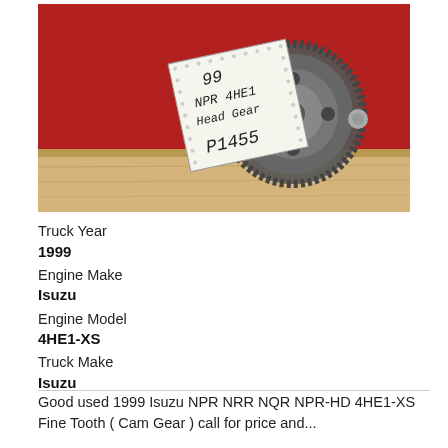[Figure (photo): Photo of a used engine cam gear (head gear) placed on a wooden surface against a red background, with a handwritten tag reading '99 NPR 4HE1 Head Gear P1455']
Truck Year
1999
Engine Make
Isuzu
Engine Model
4HE1-XS
Truck Make
Isuzu
Good used 1999 Isuzu NPR NRR NQR NPR-HD 4HE1-XS Fine Tooth ( Cam Gear ) call for price and...